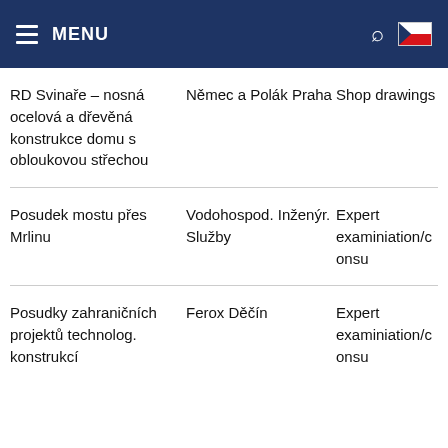MENU
| Project | Client | Type |
| --- | --- | --- |
| RD Svinaře – nosná ocelová a dřevěná konstrukce domu s obloukovou střechou | Němec a Polák Praha | Shop drawings |
| Posudek mostu přes Mrlinu | Vodohospod. Inženýr. Služby | Expert examiniation/consu |
| Posudky zahraničních projektů technolog. konstrukcí | Ferox Děčín | Expert examiniation/consu |